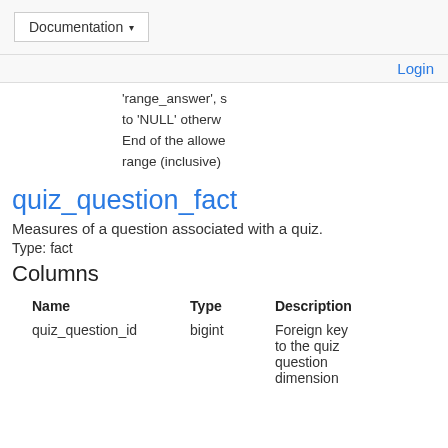Documentation ▾
Login
'range_answer', s to 'NULL' otherw End of the allowe range (inclusive)
quiz_question_fact
Measures of a question associated with a quiz.
Type: fact
Columns
| Name | Type | Description |
| --- | --- | --- |
| quiz_question_id | bigint | Foreign key to the quiz question dimension |